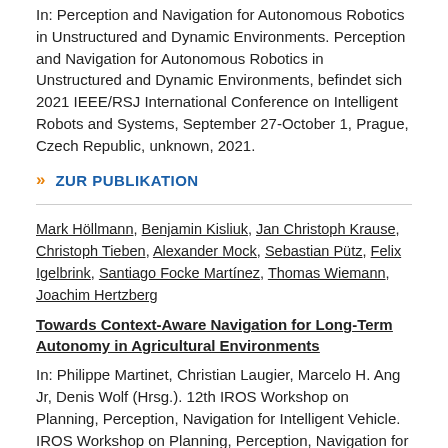In: Perception and Navigation for Autonomous Robotics in Unstructured and Dynamic Environments. Perception and Navigation for Autonomous Robotics in Unstructured and Dynamic Environments, befindet sich 2021 IEEE/RSJ International Conference on Intelligent Robots and Systems, September 27-October 1, Prague, Czech Republic, unknown, 2021.
» ZUR PUBLIKATION
Mark Höllmann, Benjamin Kisliuk, Jan Christoph Krause, Christoph Tieben, Alexander Mock, Sebastian Pütz, Felix Igelbrink, Santiago Focke Martínez, Thomas Wiemann, Joachim Hertzberg
Towards Context-Aware Navigation for Long-Term Autonomy in Agricultural Environments
In: Philippe Martinet, Christian Laugier, Marcelo H. Ang Jr, Denis Wolf (Hrsg.). 12th IROS Workshop on Planning, Perception, Navigation for Intelligent Vehicle. IROS Workshop on Planning, Perception, Navigation for